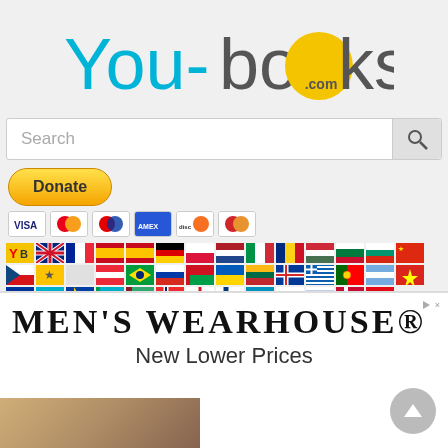[Figure (logo): You-books.com logo with cyan 'You-' text, gray '-books' text, yellow circle containing '.com']
[Figure (screenshot): Search bar with placeholder text 'Search' and magnifying glass icon on right]
[Figure (illustration): Yellow PayPal Donate button]
[Figure (illustration): Payment method icons: Visa, Mastercard, Maestro, American Express, Discover, MasterCard]
[Figure (illustration): Row of country flag icons representing multiple languages/countries for You-books.com]
[Figure (screenshot): Men's Wearhouse advertisement banner with text 'MEN'S WEARHOUSE® New Lower Prices' and photo of people]